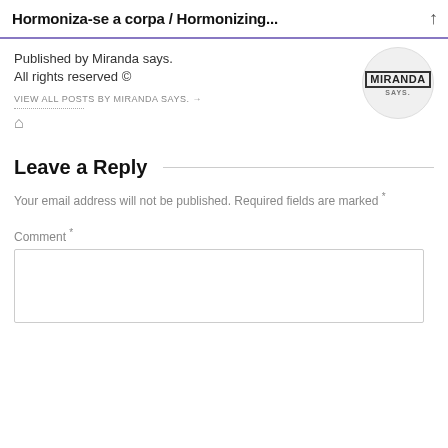Hormoniza-se a corpa / Hormonizing...
Published by Miranda says.
All rights reserved ©
VIEW ALL POSTS BY MIRANDA SAYS. →
[Figure (logo): Miranda Says logo in a circle]
Leave a Reply
Your email address will not be published. Required fields are marked *
Comment *